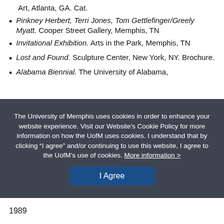Art, Atlanta, GA. Cat.
Pinkney Herbert, Terri Jones, Tom Gettlefinger/Greely Myatt. Cooper Street Gallery, Memphis, TN
Invitational Exhibition. Arts in the Park, Memphis, TN
Lost and Found. Sculpture Center, New York, NY. Brochure.
Alabama Biennial. The University of Alabama,
The University of Memphis uses cookies in order to enhance your website experience. Visit our Website's Cookie Policy for more information on how the UofM uses cookies. I understand that by clicking “I agree” and/or continuing to use this website, I agree to the UofM’s use of cookies. More information >
I Agree
1989